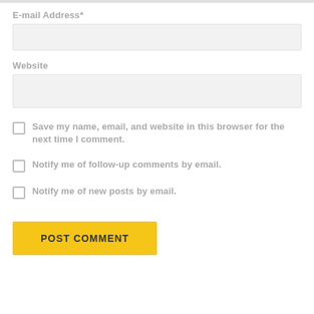E-mail Address*
Website
Save my name, email, and website in this browser for the next time I comment.
Notify me of follow-up comments by email.
Notify me of new posts by email.
POST COMMENT